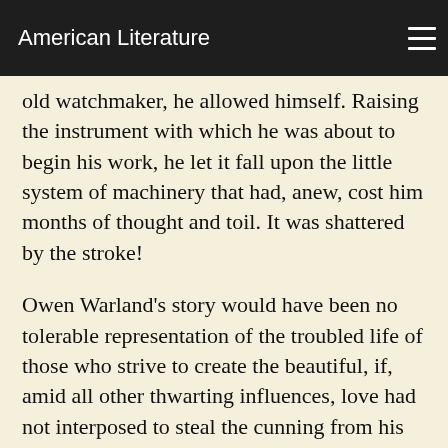American Literature
old watchmaker, he allowed himself. Raising the instrument with which he was about to begin his work, he let it fall upon the little system of machinery that had, anew, cost him months of thought and toil. It was shattered by the stroke!
Owen Warland's story would have been no tolerable representation of the troubled life of those who strive to create the beautiful, if, amid all other thwarting influences, love had not interposed to steal the cunning from his hand. Outwardly he had been no ardent or enterprising lover; the career of his passion had confined its tumults and vicissitudes so entirely within the artist's imagination that Annie